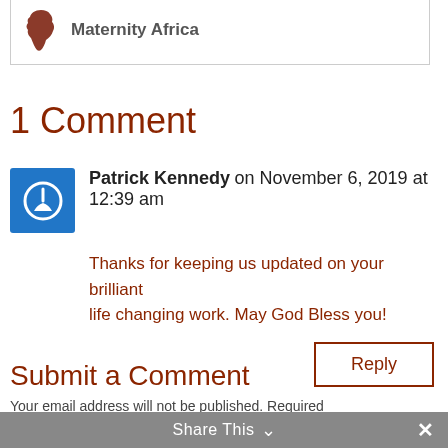[Figure (logo): Maternity Africa logo with Africa continent silhouette icon in brown/red and bold text 'Maternity Africa']
1 Comment
Patrick Kennedy on November 6, 2019 at 12:39 am
Thanks for keeping us updated on your brilliant life changing work. May God Bless you!
Reply
Submit a Comment
Your email address will not be published. Required
Share This